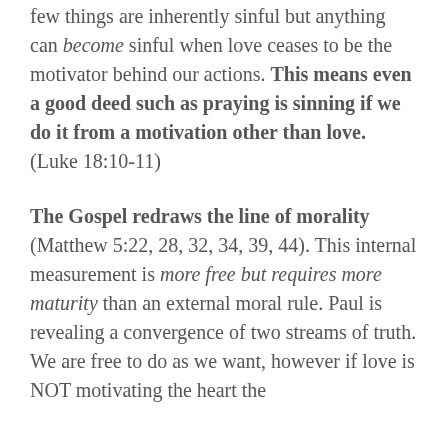few things are inherently sinful but anything can become sinful when love ceases to be the motivator behind our actions. This means even a good deed such as praying is sinning if we do it from a motivation other than love. (Luke 18:10-11)
The Gospel redraws the line of morality (Matthew 5:22, 28, 32, 34, 39, 44). This internal measurement is more free but requires more maturity than an external moral rule. Paul is revealing a convergence of two streams of truth. We are free to do as we want, however if love is NOT motivating the heart the...